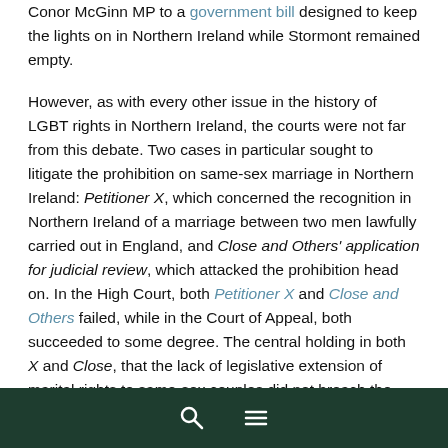Conor McGinn MP to a government bill designed to keep the lights on in Northern Ireland while Stormont remained empty.

However, as with every other issue in the history of LGBT rights in Northern Ireland, the courts were not far from this debate. Two cases in particular sought to litigate the prohibition on same-sex marriage in Northern Ireland: Petitioner X, which concerned the recognition in Northern Ireland of a marriage between two men lawfully carried out in England, and Close and Others' application for judicial review, which attacked the prohibition head on. In the High Court, both Petitioner X and Close and Others failed, while in the Court of Appeal, both succeeded to some degree. The central holding in both X and Close, that the lack of legislative extension of marital rights to same-sex couples did not breach the ECHR rights of LGBT individuals, was overturned on appeal. The basis for this was that, by the time X and Close were heard in the High Court
search | menu